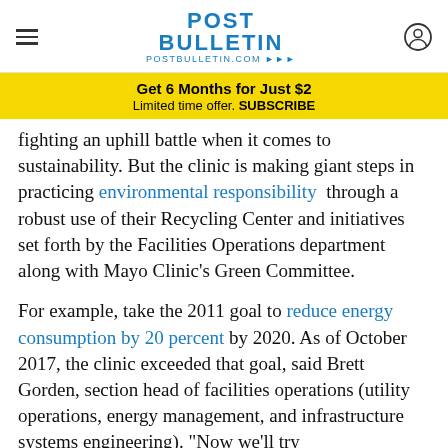POST BULLETIN — postbulletin.com
Get 6 Months for Just $2
Limited time offer. SUBSCRIBE
fighting an uphill battle when it comes to sustainability. But the clinic is making giant steps in practicing environmental responsibility through a robust use of their Recycling Center and initiatives set forth by the Facilities Operations department along with Mayo Clinic's Green Committee.
For example, take the 2011 goal to reduce energy consumption by 20 percent by 2020. As of October 2017, the clinic exceeded that goal, said Brett Gorden, section head of facilities operations (utility operations, energy management, and infrastructure systems engineering). "Now we'll try